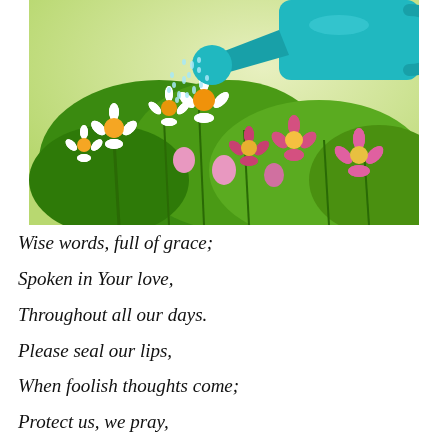[Figure (photo): A garden scene with white daisies and pink flowers being watered by a teal/turquoise watering can. Water sprays from the spout over the colorful blooms against a soft green background.]
Wise words, full of grace;
Spoken in Your love,
Throughout all our days.
Please seal our lips,
When foolish thoughts come;
Protect us, we pray,